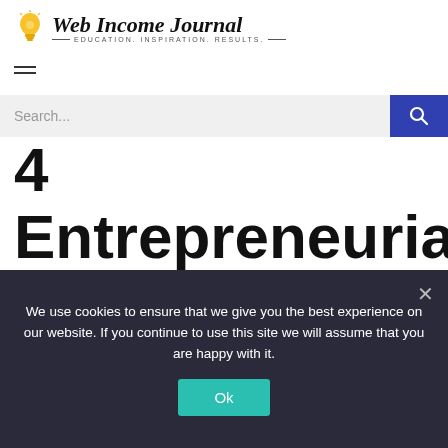[Figure (logo): Web Income Journal logo with lightbulb icon and tagline: EDUCATION. INSPIRATION. RESULTS.]
4 Entrepreneurial Essentials You Should Be Outsourcing
We use cookies to ensure that we give you the best experience on our website. If you continue to use this site we will assume that you are happy with it.